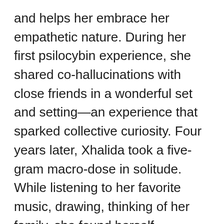and helps her embrace her empathetic nature. During her first psilocybin experience, she shared co-hallucinations with close friends in a wonderful set and setting—an experience that sparked collective curiosity. Four years later, Xhalida took a five-gram macro-dose in solitude. While listening to her favorite music, drawing, thinking of her family, she found herself contemplating deeply on the meaning of womanhood.
Her mother is from Kawit, Philippines, and her father is from Cape Town, South Africa, and she grew up in a home adorned with large, healthy plants and African and Asian artwork, learning about music, international food traditions, holistic nutrition, anatomy, and